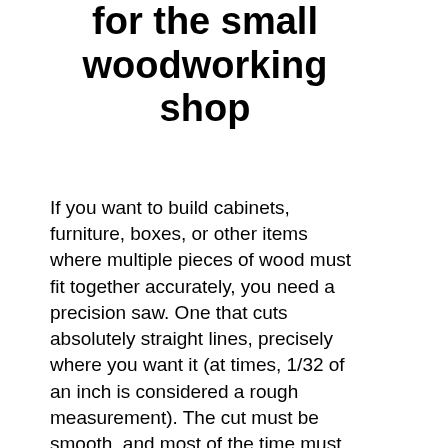for the small woodworking shop
If you want to build cabinets, furniture, boxes, or other items where multiple pieces of wood must fit together accurately, you need a precision saw. One that cuts absolutely straight lines, precisely where you want it (at times, 1/32 of an inch is considered a rough measurement). The cut must be smooth, and most of the time must be exactly vertical - 90 degrees from the the adjacent side. Our ancestors only had a hand saw, and became very good at using it (with lots and lots of practice - forget that option for me). A jigsaw won't work. A carpenter's circular saw isn't